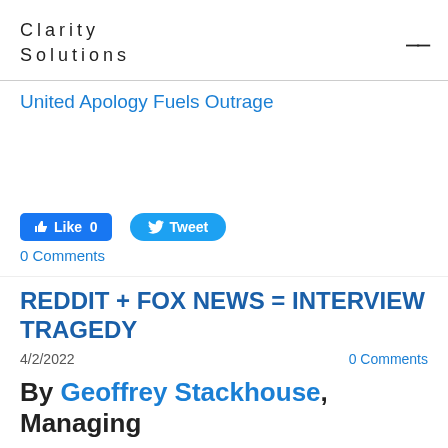Clarity Solutions
United Apology Fuels Outrage
[Figure (other): Social media buttons: Facebook Like (0) and Twitter Tweet]
0 Comments
REDDIT + FOX NEWS = INTERVIEW TRAGEDY
4/2/2022
0 Comments
By Geoffrey Stackhouse, Managing